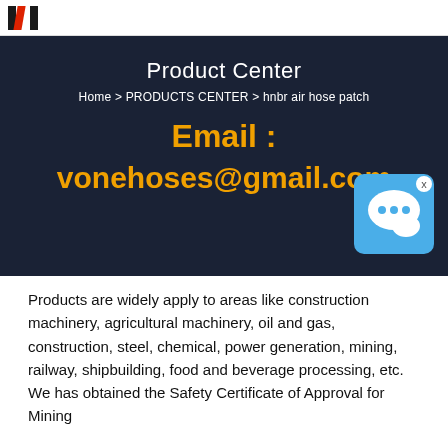[Figure (logo): Company logo with two dark bars and a red diagonal bar forming an H shape]
Product Center
Home > PRODUCTS CENTER >  hnbr air hose patch
Email : vonehoses@gmail.com
[Figure (illustration): Blue chat/messenger icon with speech bubble]
Products are widely apply to areas like construction machinery, agricultural machinery, oil and gas, construction, steel, chemical, power generation, mining, railway, shipbuilding, food and beverage processing, etc. We has obtained the Safety Certificate of Approval for Mining